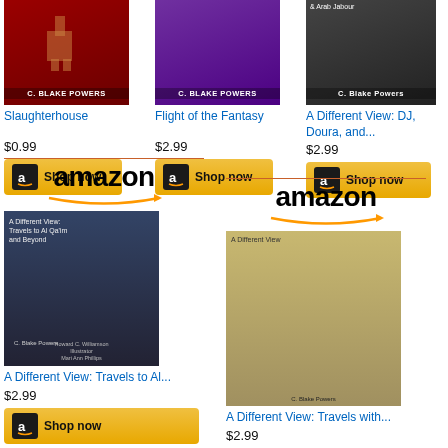[Figure (other): Amazon product listing showing book 'Slaughterhouse' by C. Blake Powers, red cover, $0.99 with Shop now button]
[Figure (other): Amazon product listing showing book 'Flight of the Fantasy' by C. Blake Powers, purple cover, $2.99 with Shop now button]
[Figure (other): Amazon product listing showing book 'A Different View: DJ, Doura, and...' by C. Blake Powers, $2.99 with Shop now button]
[Figure (other): Amazon product listing showing book 'A Different View: Travels to Al...' with Amazon branding, $2.99 with Shop now button]
[Figure (other): Amazon product listing showing book 'A Different View: Travels with...' with Amazon branding, $2.99 with Shop now button]